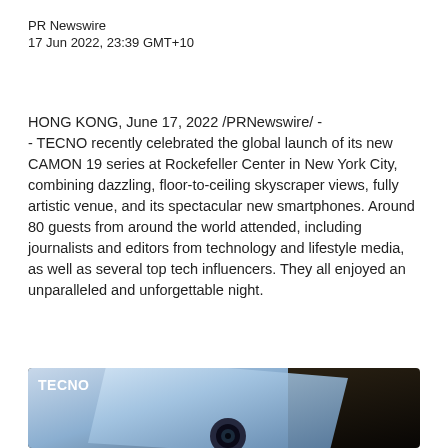PR Newswire
17 Jun 2022, 23:39 GMT+10
HONG KONG, June 17, 2022 /PRNewswire/ - - TECNO recently celebrated the global launch of its new CAMON 19 series at Rockefeller Center in New York City, combining dazzling, floor-to-ceiling skyscraper views, fully artistic venue, and its spectacular new smartphones. Around 80 guests from around the world attended, including journalists and editors from technology and lifestyle media, as well as several top tech influencers. They all enjoyed an unparalleled and unforgettable night.
[Figure (photo): TECNO branded photo showing a smartphone (CAMON 19 series) with camera module visible against a dark background, with TECNO logo in upper left corner]